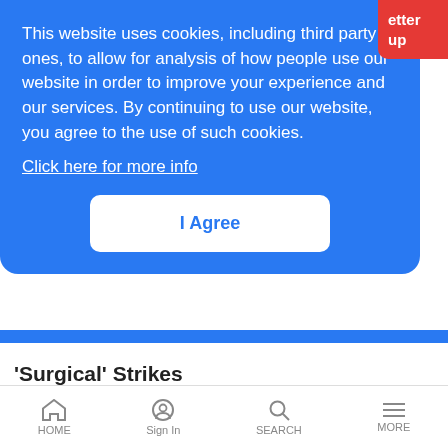[Figure (screenshot): Red button partially visible in top-right corner with text 'etter' and 'up']
This website uses cookies, including third party ones, to allow for analysis of how people use our website in order to improve your experience and our services. By continuing to use our website, you agree to the use of such cookies.
Click here for more info
I Agree
'Surgical' Strikes
The Bauminator | 9/10/2008
TWC reaffirms it will deploy Docsis 3.0 methodically
More Blogging, Bay Area Style
HOME | Sign In | SEARCH | MORE